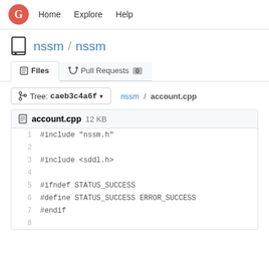Home  Explore  Help
nssm / nssm
Files  Pull Requests 0
Tree: caeb3c4a6f  nssm / account.cpp
account.cpp 12 KB
#include "nssm.h"
#include <sddl.h>
#ifndef STATUS_SUCCESS
#define STATUS_SUCCESS ERROR_SUCCESS
#endif